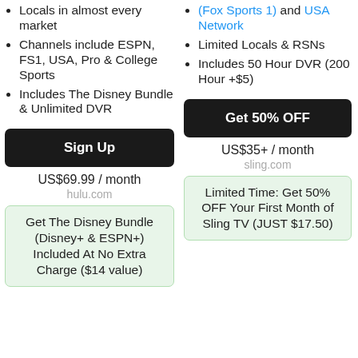Locals in almost every market
Channels include ESPN, FS1, USA, Pro & College Sports
Includes The Disney Bundle & Unlimited DVR
(Fox Sports 1) and USA Network
Limited Locals & RSNs
Includes 50 Hour DVR (200 Hour +$5)
Sign Up
US$69.99 / month
hulu.com
Get 50% OFF
US$35+ / month
sling.com
Get The Disney Bundle (Disney+ & ESPN+) Included At No Extra Charge ($14 value)
Limited Time: Get 50% OFF Your First Month of Sling TV (JUST $17.50)